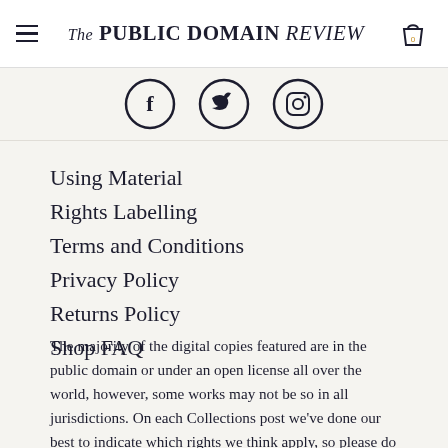The PUBLIC DOMAIN REVIEW
[Figure (illustration): Three social media icons in circles: Facebook (f), Twitter (bird), Instagram (camera)]
Using Material
Rights Labelling
Terms and Conditions
Privacy Policy
Returns Policy
Shop FAQ
The majority of the digital copies featured are in the public domain or under an open license all over the world, however, some works may not be so in all jurisdictions. On each Collections post we've done our best to indicate which rights we think apply, so please do check and look into more detail where necessary, before reusing. Unless otherwise stated, our essays are published under a Creative Commons Attribution-ShareAlike 3.0 license. Some Eagleeuis the T...